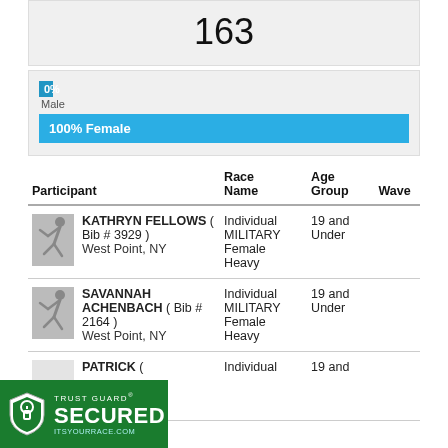163
[Figure (bar-chart): Gender breakdown]
| Participant | Race Name | Age Group | Wave |
| --- | --- | --- | --- |
| KATHRYN FELLOWS ( Bib # 3929 ) West Point, NY | Individual MILITARY Female Heavy | 19 and Under |  |
| SAVANNAH ACHENBACH ( Bib # 2164 ) West Point, NY | Individual MILITARY Female Heavy | 19 and Under |  |
| PATRICK ( | Individual | 19 and |  |
[Figure (logo): Trust Guard Secured badge with green background, shield icon, 'TRUST GUARD SECURED ITSYOURRACE.COM' text]